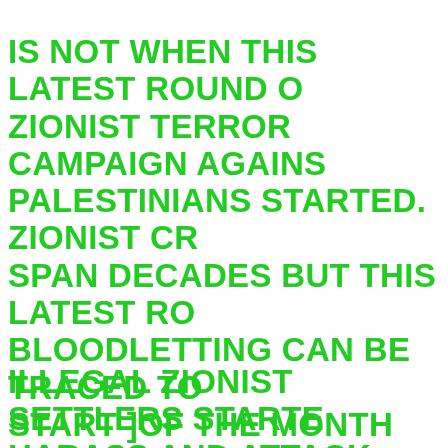IS NOT WHEN THIS LATEST ROUND OF ZIONIST TERROR CAMPAIGN AGAINST PALESTINIANS STARTED. ZIONIST CRIMES SPAN DECADES BUT THIS LATEST ROUND OF BLOODLETTING CAN BE TRACED TO THE START ]OF THE MONTH OF RAMADAN 2021. AFTER BREAKING THEIR FAST AND COMPLETING THE NIGHTLY PRAYERS, PALESTINIANS GATHER AT THE DAM GATE OUTSIDE THE STEPS OF AL AQSA MOSQUE.
ILLEGAL ZIONIST SETTLERS STARTED TO HARASS AND ATTACK THEM. THE OCCUPATION POLICE FORCE ALSO JOINED THESE ATTACKS WITH THE AIM OF